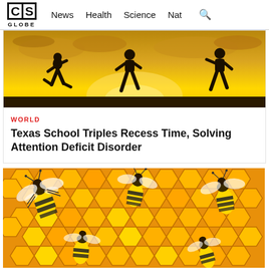CS GLOBE — News  Health  Science  Nat
[Figure (photo): Silhouettes of children running at sunset against a golden sky with clouds]
WORLD
Texas School Triples Recess Time, Solving Attention Deficit Disorder
[Figure (photo): Close-up of honeybees on golden honeycomb cells]